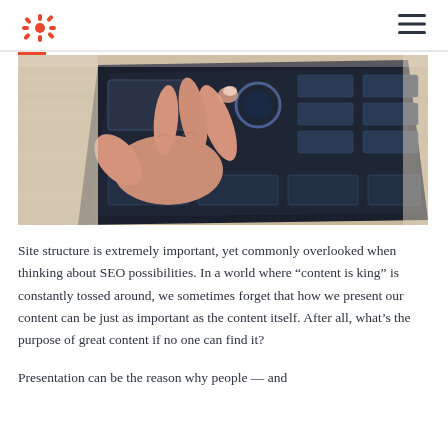HubSpot logo and navigation
[Figure (photo): A person's hand touching/swiping on a tablet displaying a dark interface with UI elements, placed on a wooden surface.]
Site structure is extremely important, yet commonly overlooked when thinking about SEO possibilities. In a world where “content is king” is constantly tossed around, we sometimes forget that how we present our content can be just as important as the content itself. After all, what’s the purpose of great content if no one can find it?
Presentation can be the reason why people — and